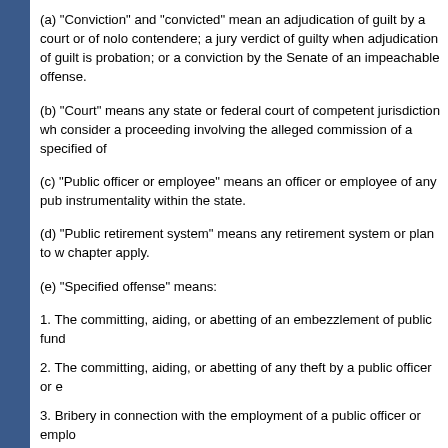(a) "Conviction" and "convicted" mean an adjudication of guilt by a court or of nolo contendere; a jury verdict of guilty when adjudication of guilt is probation; or a conviction by the Senate of an impeachable offense.
(b) "Court" means any state or federal court of competent jurisdiction wh consider a proceeding involving the alleged commission of a specified of
(c) "Public officer or employee" means an officer or employee of any pub instrumentality within the state.
(d) "Public retirement system" means any retirement system or plan to w chapter apply.
(e) "Specified offense" means:
1.  The committing, aiding, or abetting of an embezzlement of public fund
2.  The committing, aiding, or abetting of any theft by a public officer or e
3.  Bribery in connection with the employment of a public officer or emplo
4.  Any felony specified in chapter 838, except ss. 838.15 and 838.16;
5.  The committing of an impeachable offense; or
6.  The committing of any felony by a public officer or employee who, will or the public agency for which the public officer or employee acts or in w